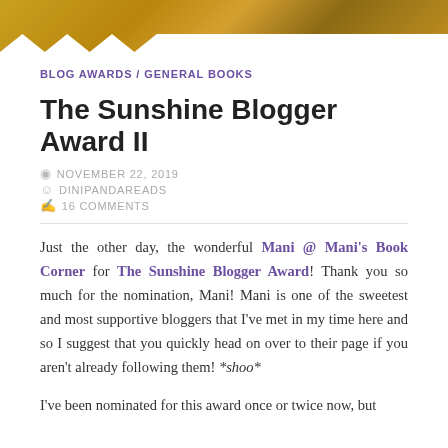[Figure (photo): Banner photo showing a golden/amber colored floral background with soft focus flowers, with white jagged edge at bottom]
BLOG AWARDS / GENERAL BOOKS
The Sunshine Blogger Award II
NOVEMBER 22, 2019
DINIPANDAREADS
16 COMMENTS
Just the other day, the wonderful Mani @ Mani's Book Corner for The Sunshine Blogger Award! Thank you so much for the nomination, Mani! Mani is one of the sweetest and most supportive bloggers that I've met in my time here and so I suggest that you quickly head on over to their page if you aren't already following them! *shoo*
I've been nominated for this award once or twice now, but